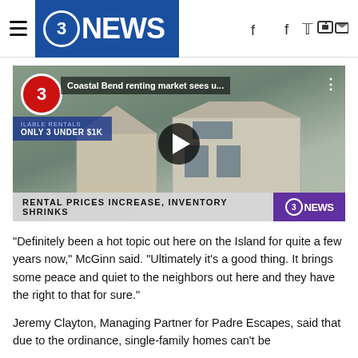3NEWS
[Figure (screenshot): Video thumbnail showing a house with a 'for sale' sign, lower-third text reading 'RENTAL PRICES INCREASE, INVENTORY SHRINKS' and 3NEWS logo. Overlay title: 'Coastal Bend renting market sees u...']
"Definitely been a hot topic out here on the Island for quite a few years now," McGinn said. "Ultimately it's a good thing. It brings some peace and quiet to the neighbors out here and they have the right to that for sure."
Jeremy Clayton, Managing Partner for Padre Escapes, said that due to the ordinance, single-family homes can't be